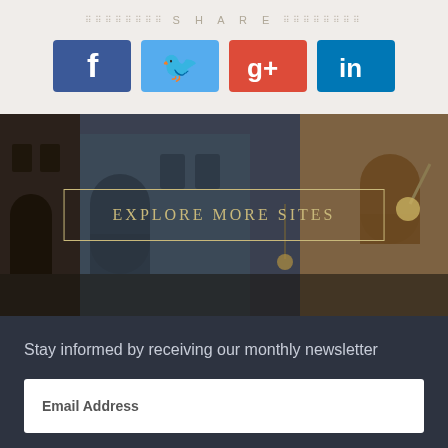SHARE
[Figure (infographic): Four social media share buttons: Facebook (blue, f), Twitter (light blue, bird), Google+ (red, g+), LinkedIn (blue, in)]
[Figure (photo): Photo of a narrow European street between tall old buildings, overlaid with a gold-bordered button reading EXPLORE MORE SITES]
Stay informed by receiving our monthly newsletter
Email Address